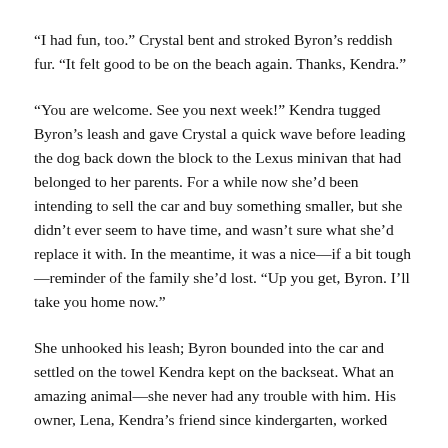“I had fun, too.” Crystal bent and stroked Byron’s reddish fur. “It felt good to be on the beach again. Thanks, Kendra.”
“You are welcome. See you next week!” Kendra tugged Byron’s leash and gave Crystal a quick wave before leading the dog back down the block to the Lexus minivan that had belonged to her parents. For a while now she’d been intending to sell the car and buy something smaller, but she didn’t ever seem to have time, and wasn’t sure what she’d replace it with. In the meantime, it was a nice—if a bit tough—reminder of the family she’d lost. “Up you get, Byron. I’ll take you home now.”
She unhooked his leash; Byron bounded into the car and settled on the towel Kendra kept on the backseat. What an amazing animal—she never had any trouble with him. His owner, Lena, Kendra’s friend since kindergarten, worked